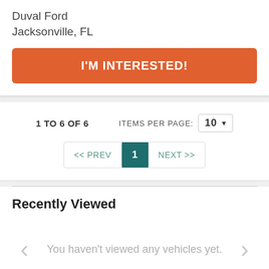Duval Ford
Jacksonville, FL
I'M INTERESTED!
1 TO 6 OF 6
ITEMS PER PAGE: 10
<< PREV  1  NEXT >>
Recently Viewed
You haven't viewed any vehicles yet.